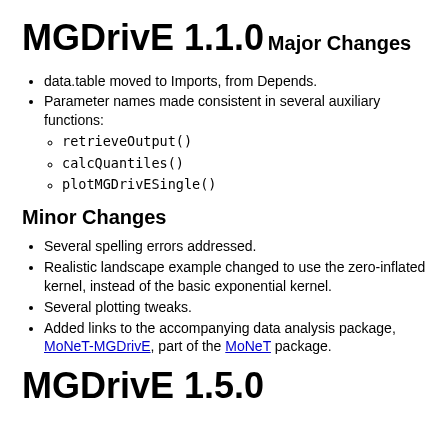MGDrivE 1.1.0
Major Changes
data.table moved to Imports, from Depends.
Parameter names made consistent in several auxiliary functions: retrieveOutput(), calcQuantiles(), plotMGDrivESingle()
Minor Changes
Several spelling errors addressed.
Realistic landscape example changed to use the zero-inflated kernel, instead of the basic exponential kernel.
Several plotting tweaks.
Added links to the accompanying data analysis package, MoNeT-MGDrivE, part of the MoNeT package.
MGDrivE 1.5.0